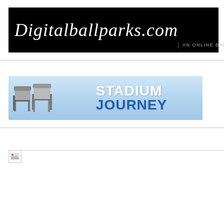[Figure (logo): Digitalballparks.com logo banner — white text on black background with subtitle 'An Online Baseball Stadium Museum']
[Figure (logo): Stadium Journey banner logo with stadium seats graphic on light blue gradient background and blue/white text reading 'STADIUM JOURNEY']
[Figure (other): Broken image placeholder icon (small image with missing/unloaded state)]